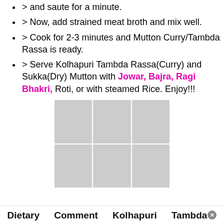> and saute for a minute.
> Now, add strained meat broth and mix well.
> Cook for 2-3 minutes and Mutton Curry/Tambda Rassa is ready.
> Serve Kolhapuri Tambda Rassa(Curry) and Sukka(Dry) Mutton with Jowar, Bajra, Ragi Bhakri, Roti, or with steamed Rice. Enjoy!!!
[Figure (photo): Grid of 6 cooking process photos showing mutton curry preparation stages]
Dietary   Comment   Kolhapuri   Tambda